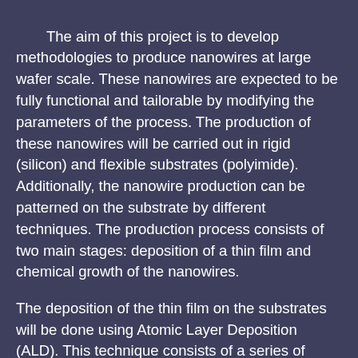The aim of this project is to develop methodologies to produce nanowires at large wafer scale. These nanowires are expected to be fully functional and tailorable by modifying the parameters of the process. The production of these nanowires will be carried out in rigid (silicon) and flexible substrates (polyimide). Additionally, the nanowire production can be patterned on the substrate by different techniques. The production process consists of two main stages: deposition of a thin film and chemical growth of the nanowires.
The deposition of the thin film on the substrates will be done using Atomic Layer Deposition (ALD). This technique consists of a series of continuous pulses of gaseous chemical precursors in a cyclic way. The precursors are pulsed for a certain amount of time in the reaction chamber (Figure 1a) and c)) followed by a purge Figure 1 b) and d)). This way, the precursor